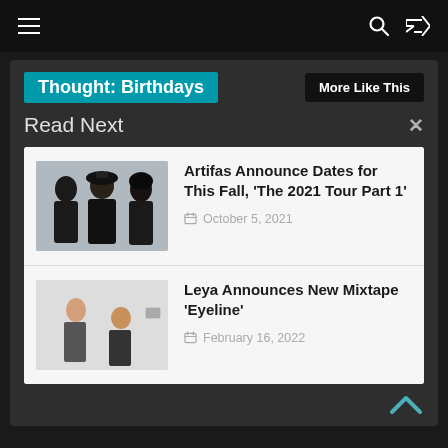≡  🔍  ⇄
Thought: Birthdays
More Like This
Read Next
[Figure (photo): Three people in black clothing posing together]
Artifas Announce Dates for This Fall, 'The 2021 Tour Part 1'
October 5, 2021
[Figure (photo): Two people in a light-colored studio setting]
Leya Announces New Mixtape 'Eyeline'
February 16, 2022